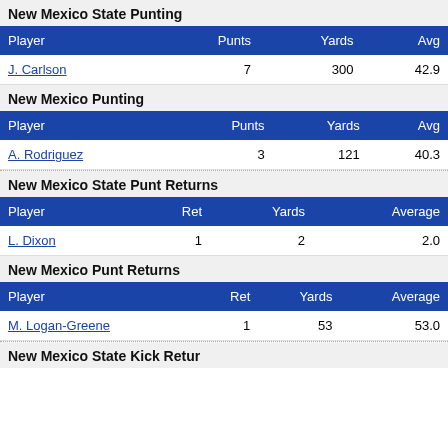New Mexico State Punting
| Player | Punts | Yards | Avg |
| --- | --- | --- | --- |
| J. Carlson | 7 | 300 | 42.9 |
New Mexico Punting
| Player | Punts | Yards | Avg |
| --- | --- | --- | --- |
| A. Rodriguez | 3 | 121 | 40.3 |
New Mexico State Punt Returns
| Player | Ret | Yards | Average |
| --- | --- | --- | --- |
| L. Dixon | 1 | 2 | 2.0 |
New Mexico Punt Returns
| Player | Ret | Yards | Average |
| --- | --- | --- | --- |
| M. Logan-Greene | 1 | 53 | 53.0 |